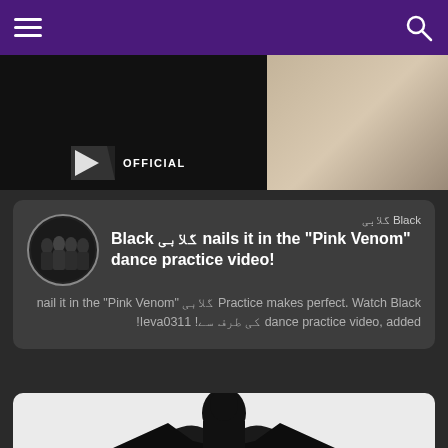Navigation bar with hamburger menu and search icon
[Figure (screenshot): Video thumbnail showing YG OFFICIAL logo on black background with a wood-floored room thumbnail]
Black گلابی
Black گلابی nails it in the "Pink Venom" dance practice video!
Practice makes perfect. Watch Black گلابی nail it in the "Pink Venom" dance practice video, added کی طرف سے! Ieva0311!
[Figure (photo): Person in black outfit with bat-wing-like costume against white background]